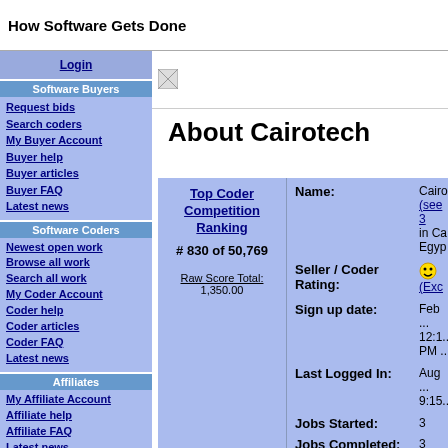How Software Gets Done
Login
Software Buyers
Request bids
Search coders
My Buyer Account
Buyer help
Buyer articles
Buyer FAQ
Latest news
Software Coders
Newest open work
Browse all work
Search all work
My Coder Account
Coder help
Coder articles
Coder FAQ
Latest news
Affiliates
My Affiliate Account
Affiliate help
Affiliate FAQ
Latest news
Newest Bid Requests.
(See all)
A number purzzle
By Sam_B on Aug 25
Max Bid: $20
FLASH MAGAZINE
By RAESE on Aug 24
Max Bid: $350
About Cairotech
[Figure (other): Small image placeholder / banner]
| Field | Value |
| --- | --- |
| Top Coder Competition Ranking # 830 of 50,769 |  |
| Raw Score Total: | 1,350.00 |
| Name: | Cairo... (see 3... in Ca... Egyp... |
| Seller / Coder Rating: | (Excellent) |
| Sign up date: | Feb ... 12:1... PM ... |
| Last Logged In: | Aug ... 9:15... |
| Jobs Started: | 3 |
| Jobs Completed: | 3 |
| Mixed Status Report: | 0 |